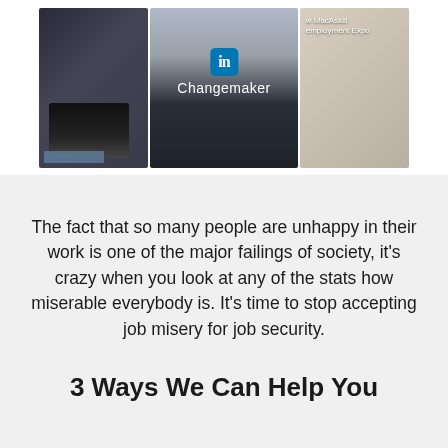[Figure (photo): A collage of three images: left panel shows a person using a laptop in dark tones, center panel shows a man with a LinkedIn 'Changemaker' badge overlay, right panel shows a partially visible person labeled 'w MacAskill' and 'employment Expo']
The fact that so many people are unhappy in their work is one of the major failings of society, it's crazy when you look at any of the stats how miserable everybody is. It's time to stop accepting job misery for job security.
3 Ways We Can Help You